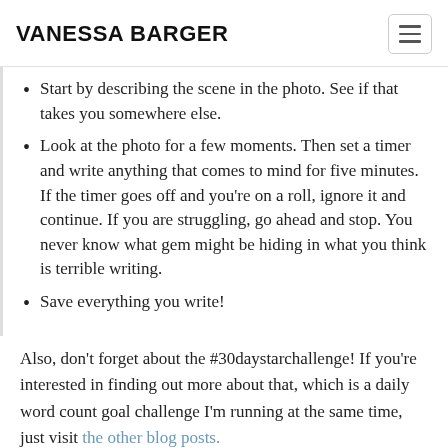VANESSA BARGER
Start by describing the scene in the photo. See if that takes you somewhere else.
Look at the photo for a few moments. Then set a timer and write anything that comes to mind for five minutes. If the timer goes off and you're on a roll, ignore it and continue. If you are struggling, go ahead and stop. You never know what gem might be hiding in what you think is terrible writing.
Save everything you write!
Also, don't forget about the #30daystarchallenge! If you're interested in finding out more about that, which is a daily word count goal challenge I'm running at the same time, just visit the other blog posts.